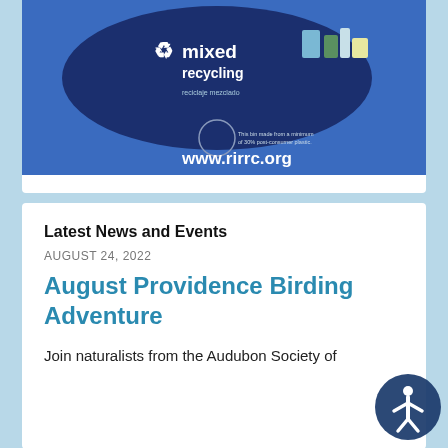[Figure (photo): Blue mixed recycling bin with a dark navy oval label showing a recycle symbol and 'mixed recycling' text, plus various recyclable item images. The website www.rirrc.org is printed in white at the bottom of the bin.]
Latest News and Events
AUGUST 24, 2022
August Providence Birding Adventure
Join naturalists from the Audubon Society of